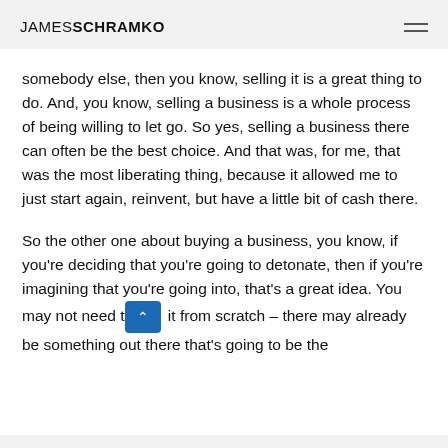JAMES SCHRAMKO
somebody else, then you know, selling it is a great thing to do. And, you know, selling a business is a whole process of being willing to let go. So yes, selling a business there can often be the best choice. And that was, for me, that was the most liberating thing, because it allowed me to just start again, reinvent, but have a little bit of cash there.
So the other one about buying a business, you know, if you’re deciding that you’re going to detonate, then if you’re imagining that you’re going into, that’s a great idea. You may not need to [scroll button] it from scratch – there may already be something out there that’s going to be the